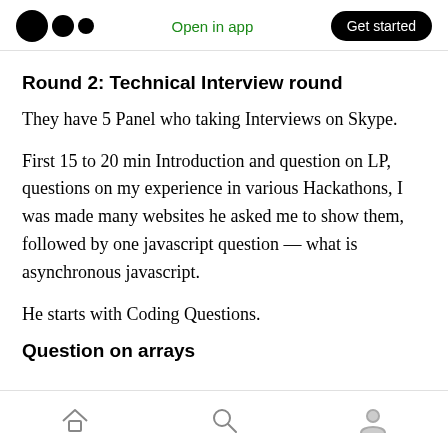Open in app | Get started
Round 2: Technical Interview round
They have 5 Panel who taking Interviews on Skype.
First 15 to 20 min Introduction and question on LP, questions on my experience in various Hackathons, I was made many websites he asked me to show them, followed by one javascript question — what is asynchronous javascript.
He starts with Coding Questions.
Question on arrays
Home | Search | Profile